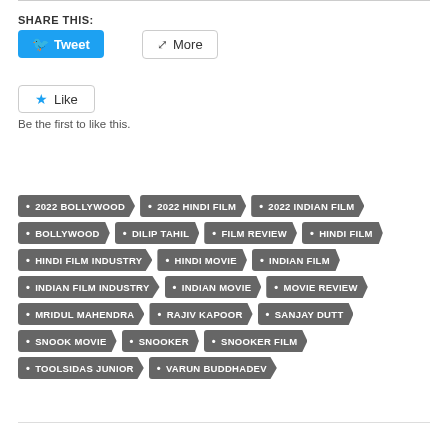SHARE THIS:
Tweet
More
Like
Be the first to like this.
2022 BOLLYWOOD
2022 HINDI FILM
2022 INDIAN FILM
BOLLYWOOD
DILIP TAHIL
FILM REVIEW
HINDI FILM
HINDI FILM INDUSTRY
HINDI MOVIE
INDIAN FILM
INDIAN FILM INDUSTRY
INDIAN MOVIE
MOVIE REVIEW
MRIDUL MAHENDRA
RAJIV KAPOOR
SANJAY DUTT
SNOOK MOVIE
SNOOKER
SNOOKER FILM
TOOLSIDAS JUNIOR
VARUN BUDDHADEV